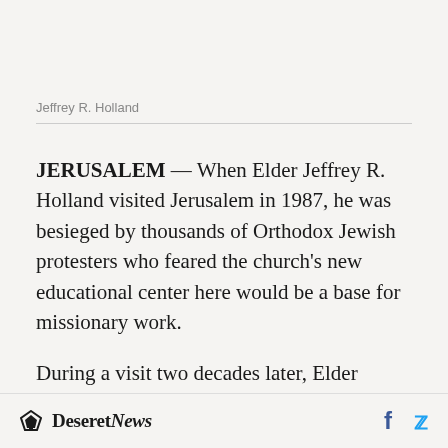Jeffrey R. Holland
JERUSALEM — When Elder Jeffrey R. Holland visited Jerusalem in 1987, he was besieged by thousands of Orthodox Jewish protesters who feared the church's new educational center here would be a base for missionary work.
During a visit two decades later, Elder Holland, a member of the Quorum of the Twelve of The Church of Jesus Christ of Latter-day Saints, said
Deseret News